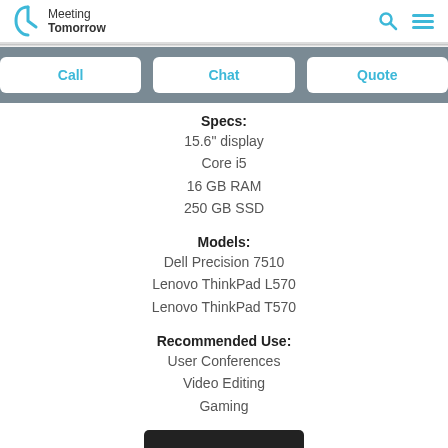Meeting Tomorrow
Call | Chat | Quote
Specs:
15.6" display
Core i5
16 GB RAM
250 GB SSD
Models:
Dell Precision 7510
Lenovo ThinkPad L570
Lenovo ThinkPad T570
Recommended Use:
User Conferences
Video Editing
Gaming